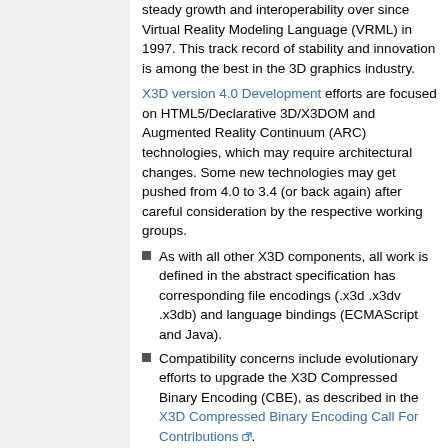steady growth and interoperability over since Virtual Reality Modeling Language (VRML) in 1997. This track record of stability and innovation is among the best in the 3D graphics industry.
X3D version 4.0 Development efforts are focused on HTML5/Declarative 3D/X3DOM and Augmented Reality Continuum (ARC) technologies, which may require architectural changes. Some new technologies may get pushed from 4.0 to 3.4 (or back again) after careful consideration by the respective working groups.
As with all other X3D components, all work is defined in the abstract specification has corresponding file encodings (.x3d .x3dv .x3db) and language bindings (ECMAScript and Java).
Compatibility concerns include evolutionary efforts to upgrade the X3D Compressed Binary Encoding (CBE), as described in the X3D Compressed Binary Encoding Call For Contributions [external link].